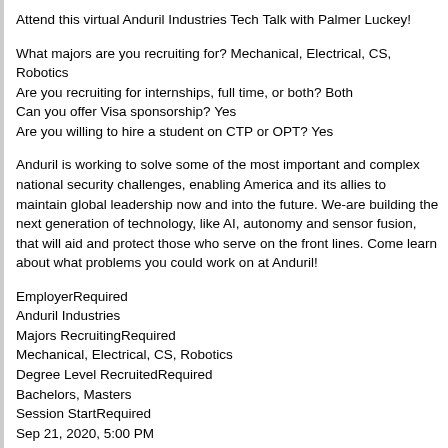Attend this virtual Anduril Industries Tech Talk with Palmer Luckey!
What majors are you recruiting for? Mechanical, Electrical, CS, Robotics
Are you recruiting for internships, full time, or both? Both
Can you offer Visa sponsorship? Yes
Are you willing to hire a student on CTP or OPT? Yes
Anduril is working to solve some of the most important and complex national security challenges, enabling America and its allies to maintain global leadership now and into the future. We-are building the next generation of technology, like AI, autonomy and sensor fusion, that will aid and protect those who serve on the front lines. Come learn about what problems you could work on at Anduril!
EmployerRequired
Anduril Industries
Majors RecruitingRequired
Mechanical, Electrical, CS, Robotics
Degree Level RecruitedRequired
Bachelors, Masters
Session StartRequired
Sep 21, 2020, 5:00 PM
Session EndRequired